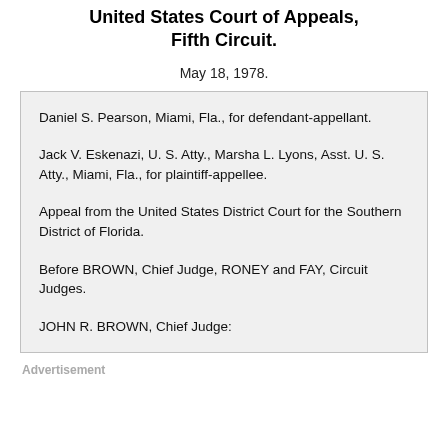United States Court of Appeals, Fifth Circuit.
May 18, 1978.
Daniel S. Pearson, Miami, Fla., for defendant-appellant.
Jack V. Eskenazi, U. S. Atty., Marsha L. Lyons, Asst. U. S. Atty., Miami, Fla., for plaintiff-appellee.
Appeal from the United States District Court for the Southern District of Florida.
Before BROWN, Chief Judge, RONEY and FAY, Circuit Judges.
JOHN R. BROWN, Chief Judge:
Advertisement